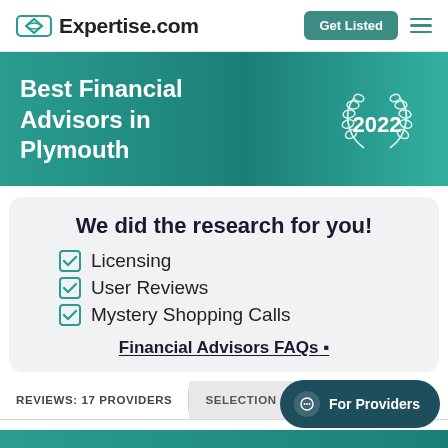Expertise.com
Best Financial Advisors in Plymouth
2022
We did the research for you!
Licensing
User Reviews
Mystery Shopping Calls
Financial Advisors FAQs
REVIEWS: 17 PROVIDERS
SELECTION CRITERIA
For Providers